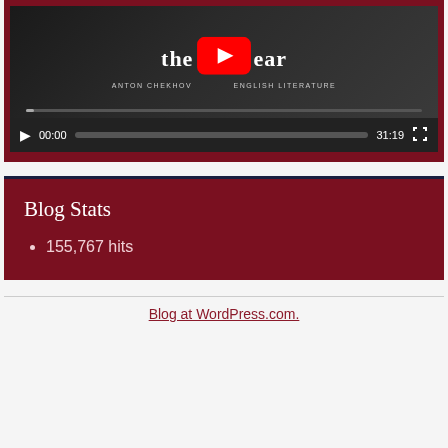[Figure (screenshot): YouTube video player showing a video titled 'the Bear' by Anton Chekhov about English Literature. Controls show 00:00 current time and 31:19 total duration, with progress bar and fullscreen button.]
Blog Stats
155,767 hits
Blog at WordPress.com.